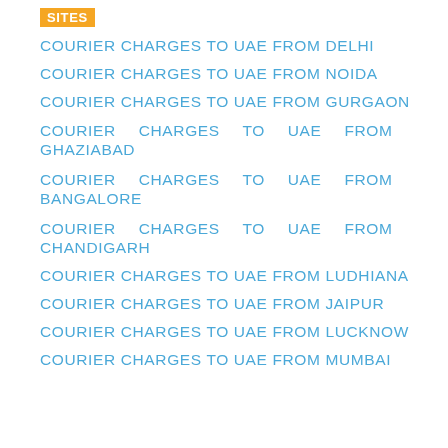COURIER CHARGES TO UAE FROM DELHI
COURIER CHARGES TO UAE FROM NOIDA
COURIER CHARGES TO UAE FROM GURGAON
COURIER CHARGES TO UAE FROM GHAZIABAD
COURIER CHARGES TO UAE FROM BANGALORE
COURIER CHARGES TO UAE FROM CHANDIGARH
COURIER CHARGES TO UAE FROM LUDHIANA
COURIER CHARGES TO UAE FROM JAIPUR
COURIER CHARGES TO UAE FROM LUCKNOW
COURIER CHARGES TO UAE FROM MUMBAI